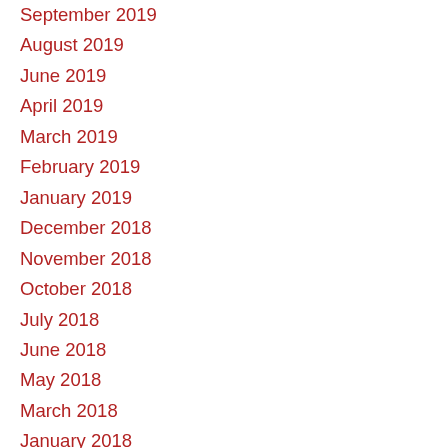September 2019
August 2019
June 2019
April 2019
March 2019
February 2019
January 2019
December 2018
November 2018
October 2018
July 2018
June 2018
May 2018
March 2018
January 2018
December 2017
November 2017
October 2017
August 2017
July 2017
June 2017